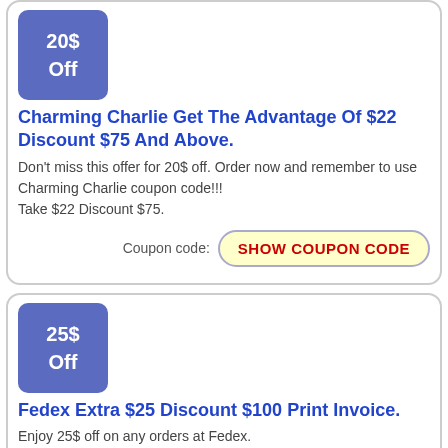[Figure (infographic): Blue square badge showing '20$ Off']
Charming Charlie Get The Advantage Of $22 Discount $75 And Above.
Don't miss this offer for 20$ off. Order now and remember to use Charming Charlie coupon code!!! Take $22 Discount $75.
Coupon code: SHOW COUPON CODE
[Figure (infographic): Blue square badge showing '25$ Off']
Fedex Extra $25 Discount $100 Print Invoice.
Enjoy 25$ off on any orders at Fedex.